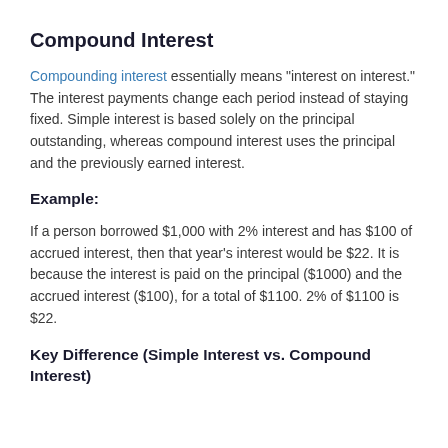Compound Interest
Compounding interest essentially means “interest on interest.” The interest payments change each period instead of staying fixed. Simple interest is based solely on the principal outstanding, whereas compound interest uses the principal and the previously earned interest.
Example:
If a person borrowed $1,000 with 2% interest and has $100 of accrued interest, then that year’s interest would be $22. It is because the interest is paid on the principal ($1000) and the accrued interest ($100), for a total of $1100. 2% of $1100 is $22.
Key Difference (Simple Interest vs. Compound Interest)